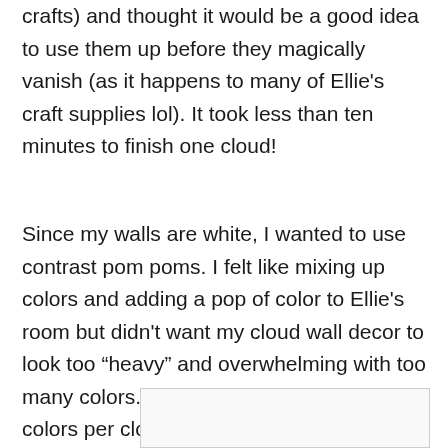crafts) and thought it would be a good idea to use them up before they magically vanish (as it happens to many of Ellie's craft supplies lol). It took less than ten minutes to finish one cloud!
Since my walls are white, I wanted to use contrast pom poms. I felt like mixing up colors and adding a pop of color to Ellie's room but didn't want my cloud wall decor to look too “heavy” and overwhelming with too many colors. So I decided to stick to two colors per cloud.
[Figure (photo): Partial image visible at the bottom of the page, appears to be a photo related to the craft project described.]